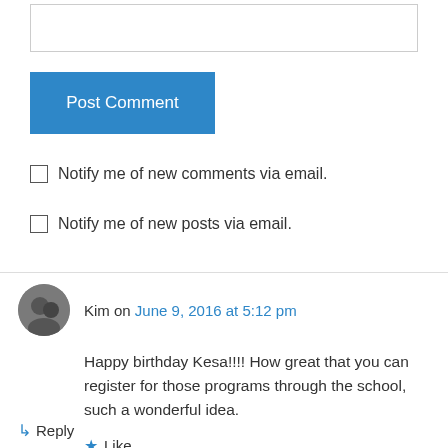[Figure (screenshot): Empty text input box for comment]
Post Comment
Notify me of new comments via email.
Notify me of new posts via email.
Kim on June 9, 2016 at 5:12 pm
Happy birthday Kesa!!!! How great that you can register for those programs through the school, such a wonderful idea.
Like
Reply